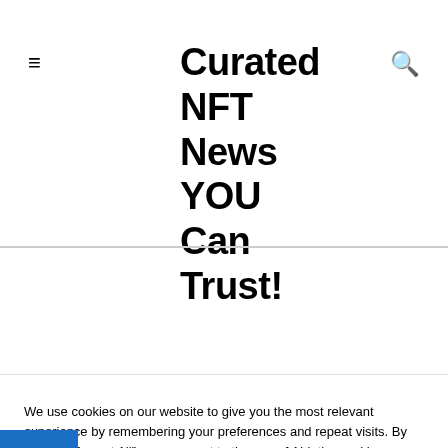Curated NFT News YOU Can Trust!
| Table of Contents |
| --- |
| 1 What Occurred to The Sandbox's ENS? |
| 2 What Are ENS and Why Are They Vital? |
We use cookies on our website to give you the most relevant experience by remembering your preferences and repeat visits. By clicking “Accept All”, you consent to the use of ALL the cookies. However, you may visit "Cookie Settings" to provide a controlled consent.